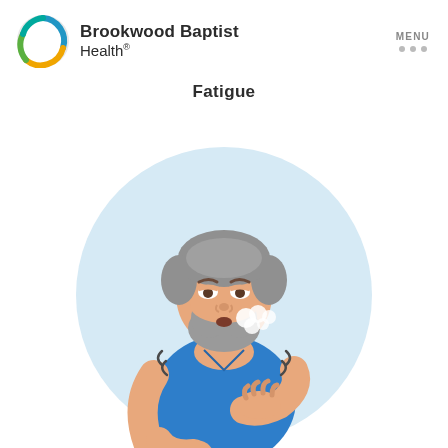Brookwood Baptist Health.
Fatigue
[Figure (illustration): Illustration of a tired bearded man in a blue t-shirt with hand on chest, exhaling breath, with motion lines on sides, set against a light blue circle background.]